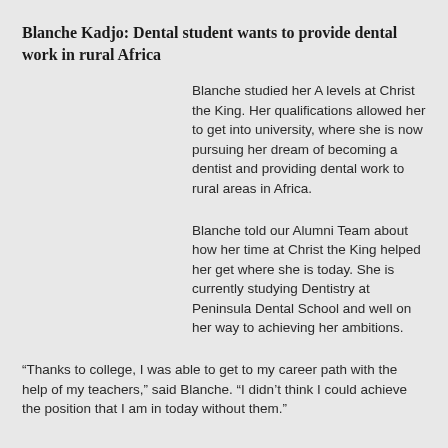Blanche Kadjo: Dental student wants to provide dental work in rural Africa
Blanche studied her A levels at Christ the King. Her qualifications allowed her to get into university, where she is now pursuing her dream of becoming a dentist and providing dental work to rural areas in Africa.
Blanche told our Alumni Team about how her time at Christ the King helped her get where she is today. She is currently studying Dentistry at Peninsula Dental School and well on her way to achieving her ambitions.
“Thanks to college, I was able to get to my career path with the help of my teachers,” said Blanche. “I didn’t think I could achieve the position that I am in today without them.”